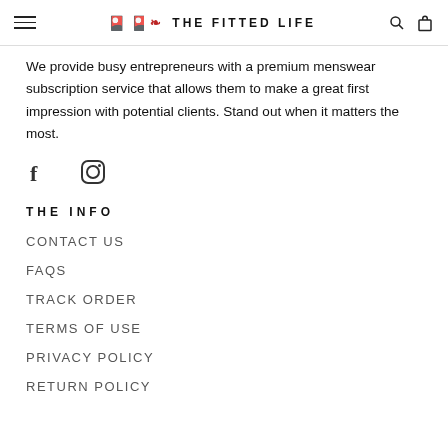THE FITTED LIFE
We provide busy entrepreneurs with a premium menswear subscription service that allows them to make a great first impression with potential clients. Stand out when it matters the most.
[Figure (other): Social media icons: Facebook (f) and Instagram (circle with rounded square)]
THE INFO
CONTACT US
FAQs
TRACK ORDER
TERMS OF USE
PRIVACY POLICY
RETURN POLICY